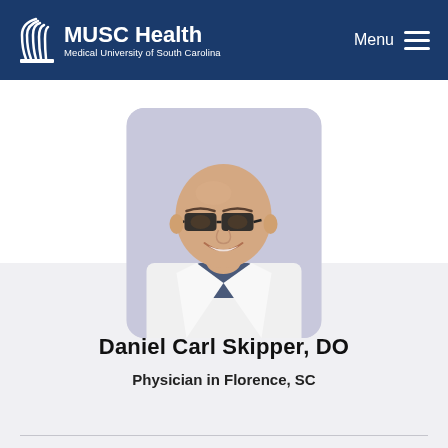MUSC Health Medical University of South Carolina | Menu
[Figure (photo): Headshot of Dr. Daniel Carl Skipper, DO, a bald man wearing dark-framed glasses and a white lab coat, smiling, photographed against a light lavender background.]
Daniel Carl Skipper, DO
Physician in Florence, SC